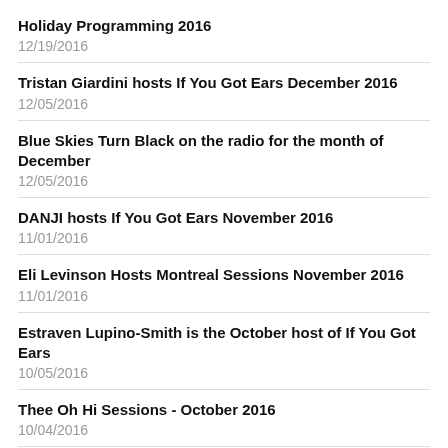Holiday Programming 2016
12/19/2016
Tristan Giardini hosts If You Got Ears December 2016
12/05/2016
Blue Skies Turn Black on the radio for the month of December
12/05/2016
DANJI hosts If You Got Ears November 2016
11/01/2016
Eli Levinson Hosts Montreal Sessions November 2016
11/01/2016
Estraven Lupino-Smith is the October host of If You Got Ears
10/05/2016
Thee Oh Hi Sessions - October 2016
10/04/2016